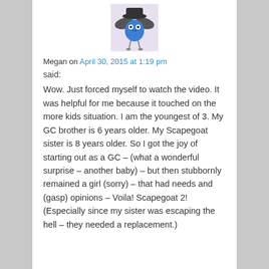[Figure (illustration): Avatar image of a cartoon blue creature with bat-like wings, dark hat, and dangling legs on a light purple/lavender background]
Megan on April 30, 2015 at 1:19 pm
said:
Wow. Just forced myself to watch the video. It was helpful for me because it touched on the more kids situation. I am the youngest of 3. My GC brother is 6 years older. My Scapegoat sister is 8 years older. So I got the joy of starting out as a GC – (what a wonderful surprise – another baby) – but then stubbornly remained a girl (sorry) – that had needs and (gasp) opinions – Voila! Scapegoat 2! (Especially since my sister was escaping the hell – they needed a replacement.)